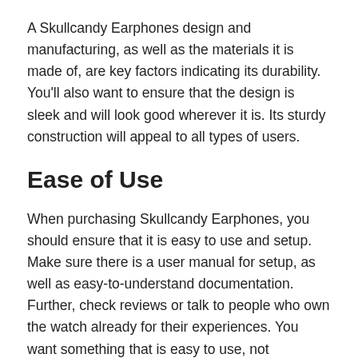A Skullcandy Earphones design and manufacturing, as well as the materials it is made of, are key factors indicating its durability. You'll also want to ensure that the design is sleek and will look good wherever it is. Its sturdy construction will appeal to all types of users.
Ease of Use
When purchasing Skullcandy Earphones, you should ensure that it is easy to use and setup. Make sure there is a user manual for setup, as well as easy-to-understand documentation. Further, check reviews or talk to people who own the watch already for their experiences. You want something that is easy to use, not something that makes your life more complicated.
Weight